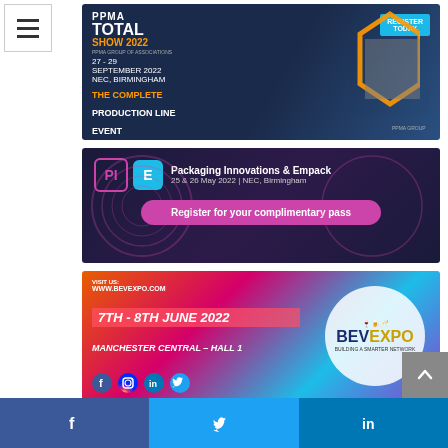[Figure (illustration): Hamburger/menu icon button top left]
[Figure (illustration): PPMA Total Show 2022 banner ad. 27-29 September 2022, NEC Birmingham. The complete production line event. Register Today.]
[Figure (illustration): Packaging Innovations & Empack banner. PI E logos. 25 & 26 May 2022, NEC, Birmingham. Register for your complimentary pass.]
[Figure (illustration): BevExpo banner. Visit us: www.bevexpo.com. 7th - 8th June 2022. Manchester Central - Hall 1. Social media icons. BevExpo Building a Smarter Network logo.]
[Figure (illustration): Social media footer bar with Facebook, Twitter, LinkedIn icons on dark blue/light blue background.]